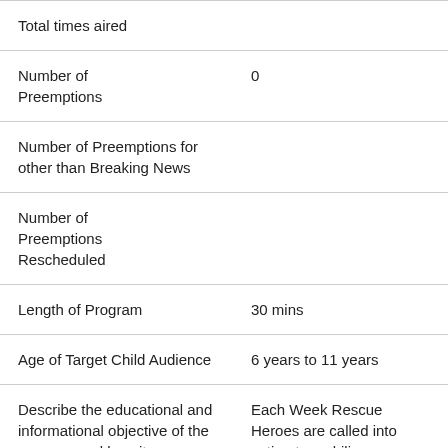|  |  |
| --- | --- |
| Total times aired |  |
| Number of Preemptions | 0 |
| Number of Preemptions for other than Breaking News |  |
| Number of Preemptions Rescheduled |  |
| Length of Program | 30 mins |
| Age of Target Child Audience | 6 years to 11 years |
| Describe the educational and informational objective of the program and how it | Each Week Rescue Heroes are called into action to mobilize themselves in any part of the globe to protect |